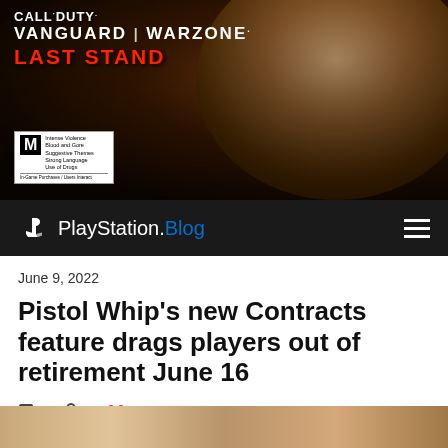[Figure (photo): Call of Duty Vanguard Warzone Last Stand promotional banner featuring a scarred character with an eye patch against a dark urban background]
PlayStation.Blog
June 9, 2022
Pistol Whip's new Contracts feature drags players out of retirement June 16
3 comments  0 microphone  63 likes
[Figure (photo): Bottom thumbnail strip showing game-related imagery]